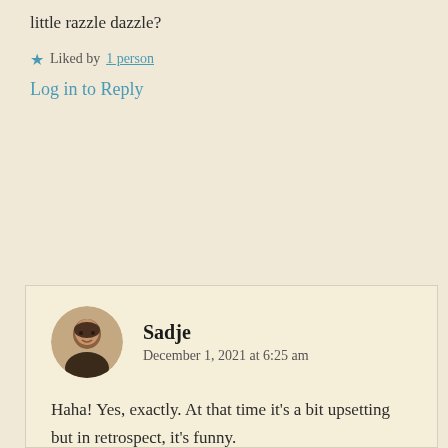little razzle dazzle?
★ Liked by 1 person
Log in to Reply
Sadje
December 1, 2021 at 6:25 am
Haha! Yes, exactly. At that time it's a bit upsetting but in retrospect, it's funny.
★ Liked by 1 person
Log in to Reply